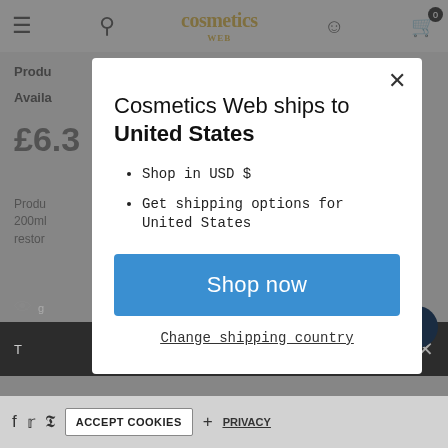[Figure (screenshot): Cosmetics Web website navigation bar with hamburger menu, search icon, gold leaf logo, user icon, and cart icon with 0 badge]
Produ
Availa
£6.3
Produ ... erry, 200ml ... u can restore
Cosmetics Web ships to United States
Shop in USD $
Get shipping options for United States
Shop now
Change shipping country
Chat with us
ACCEPT COOKIES
PRIVACY